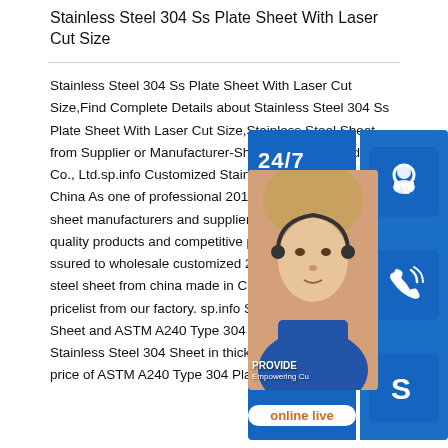Stainless Steel 304 Ss Plate Sheet With Laser Cut Size
Stainless Steel 304 Ss Plate Sheet With Laser Cut Size,Find Complete Details about Stainless Steel 304 Ss Plate Sheet With Laser Cut Size,Stainless Steel Sheet from Supplier or Manufacturer-Shanghai Metal Products Co., Ltd.sp.info Customized Stainless Steel Sheet From China As one of professional 201 304 316 stainless steel sheet manufacturers and suppliers, we're featured by quality products and competitive price. Please rest assured to wholesale customized 201 304 316 stainless steel sheet from china made in China here and get pricelist from our factory. sp.info Stainless Steel 304 Sheet and ASTM A240 Type 304 Plate Stockist of Stainless Steel 304 Sheet in thickness 1 To 120 mm. Best price of ASTM A240 Type 304 Plate,
[Figure (infographic): Customer support widget overlay showing a 24/7 online chat/call support interface with a photo of a headset-wearing woman, blue panels with phone and Skype icons, '24/7' text, 'PROVIDE Empowering Cu...' text, and 'online live' button.]